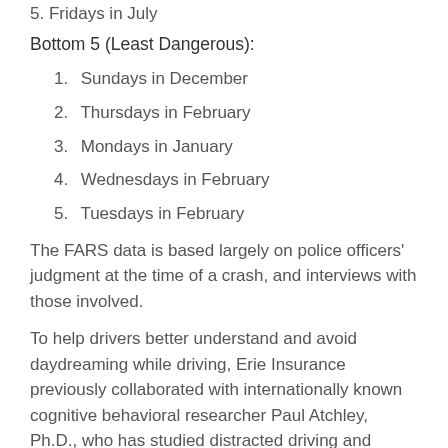5. Fridays in July
Bottom 5 (Least Dangerous):
1. Sundays in December
2. Thursdays in February
3. Mondays in January
4. Wednesdays in February
5. Tuesdays in February
The FARS data is based largely on police officers' judgment at the time of a crash, and interviews with those involved.
To help drivers better understand and avoid daydreaming while driving, Erie Insurance previously collaborated with internationally known cognitive behavioral researcher Paul Atchley, Ph.D., who has studied distracted driving and worked with national safety organizations to reduce it.
VIDEO: How To Stay Alert While Driving, Explained by a